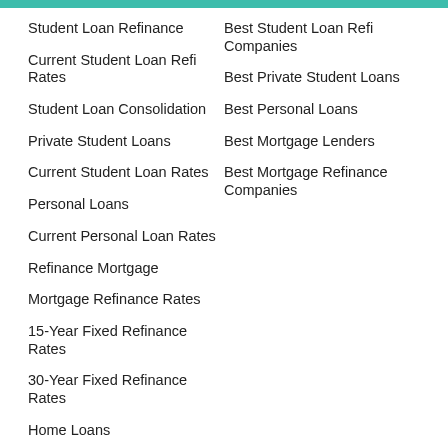Student Loan Refinance
Current Student Loan Refi Rates
Student Loan Consolidation
Private Student Loans
Current Student Loan Rates
Personal Loans
Current Personal Loan Rates
Refinance Mortgage
Mortgage Refinance Rates
15-Year Fixed Refinance Rates
30-Year Fixed Refinance Rates
Home Loans
Best Student Loan Refi Companies
Best Private Student Loans
Best Personal Loans
Best Mortgage Lenders
Best Mortgage Refinance Companies